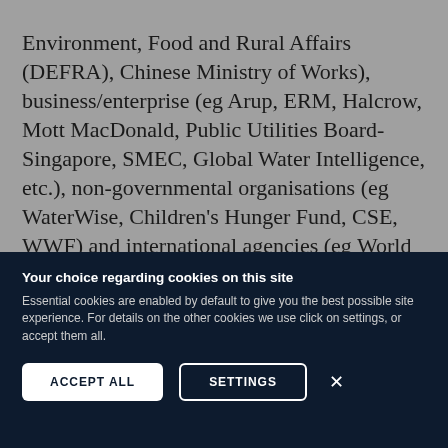Environment, Food and Rural Affairs (DEFRA), Chinese Ministry of Works), business/enterprise (eg Arup, ERM, Halcrow, Mott MacDonald, Public Utilities Board-Singapore, SMEC, Global Water Intelligence, etc.), non-governmental organisations (eg WaterWise, Children's Hunger Fund, CSE, WWF) and international agencies (eg World Bank, UNICEF, European Commission, IFAD, GTZ, USAID, etc). A number of students use the course as a gateway to start DPhil (PhD) research.
Your choice regarding cookies on this site
Essential cookies are enabled by default to give you the best possible site experience. For details on the other cookies we use click on settings, or accept them all.